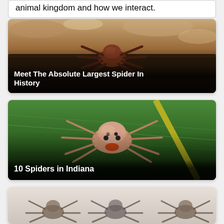animal kingdom and how we interact.
[Figure (photo): Close-up photo of a large brown spider viewed from the front, on rocky/muddy ground with leaves, with bold white text overlay reading 'Meet The Absolute Largest Spider In History']
Meet The Absolute Largest Spider In History
[Figure (photo): Close-up photo of a pale pinkish-brown spider facing the camera on a green leaf, with a yellow diagonal line in the background, with bold white text overlay reading '10 Spiders in Indiana']
10 Spiders in Indiana
[Figure (photo): Partial view of a light-colored spider on white background, partially cropped at bottom of page]